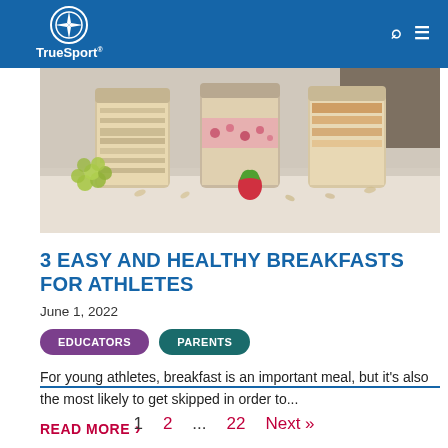[Figure (photo): TrueSport website header with blue background, logo with compass rose icon and TrueSport text, search and menu icons on dark right side]
[Figure (photo): Three mason jars filled with overnight oats, granola, and berries/fruit, with grapes and strawberries in front on a light wooden surface]
3 EASY AND HEALTHY BREAKFASTS FOR ATHLETES
June 1, 2022
EDUCATORS  PARENTS
For young athletes, breakfast is an important meal, but it's also the most likely to get skipped in order to...
READ MORE ›
1  2  ...  22  Next »